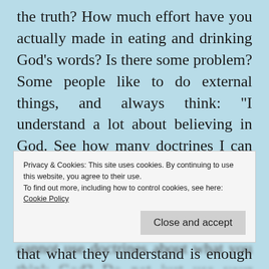the truth? How much effort have you actually made in eating and drinking God’s words? Is there some problem? Some people like to do external things, and always think: “I understand a lot about believing in God. See how many doctrines I can speak of. I can say a lot when I preach. I can speak to anyone I see. When I preach I can do it for a few hours.” This kind of person thinks that what they understand is enough to use and that it
Privacy & Cookies: This site uses cookies. By continuing to use this website, you agree to their use.
To find out more, including how to control cookies, see here:
Cookie Policy
Close and accept
cannot use doctrines about what you think God? Do not just use your words to say God...